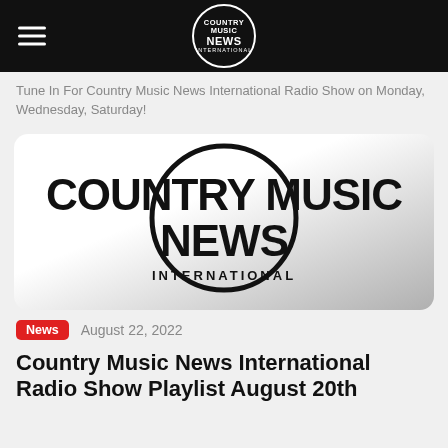COUNTRY MUSIC NEWS INTERNATIONAL
Tune In For Country Music News International Radio Show on Monday, Wednesday, Saturday!
[Figure (logo): Country Music News International logo: large bold text 'COUNTRY MUSIC NEWS' inside a large circle, with 'INTERNATIONAL' below in smaller caps, on a gradient white-to-gray background with rounded rectangle card.]
News   August 22, 2022
Country Music News International Radio Show Playlist August 20th